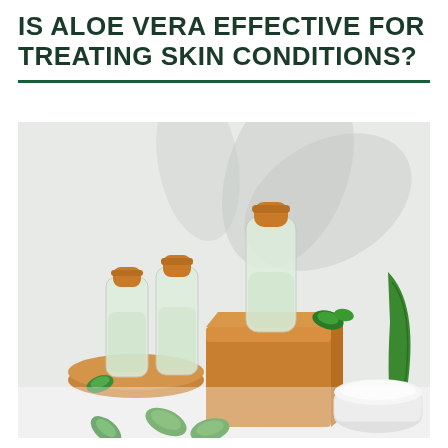IS ALOE VERA EFFECTIVE FOR TREATING SKIN CONDITIONS?
[Figure (photo): Product flat-lay photo showing three frosted glass bottles with bamboo caps on wooden risers, a white cream jar, fresh aloe vera slices and leaves, all arranged on a white surface with soft leaf shadows in the background.]